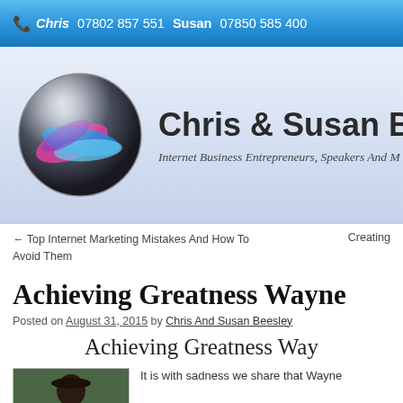📞 Chris 07802 857 551 Susan 07850 585 400
[Figure (logo): Chris & Susan Beesley website header with colorful sphere logo. Text: Chris & Susan Bees... Internet Business Entrepreneurs, Speakers And M...]
← Top Internet Marketing Mistakes And How To Avoid Them
Creating
Achieving Greatness Wayne
Posted on August 31, 2015 by Chris And Susan Beesley
Achieving Greatness Way
[Figure (photo): Photo of a person outdoors]
It is with sadness we share that Wayne